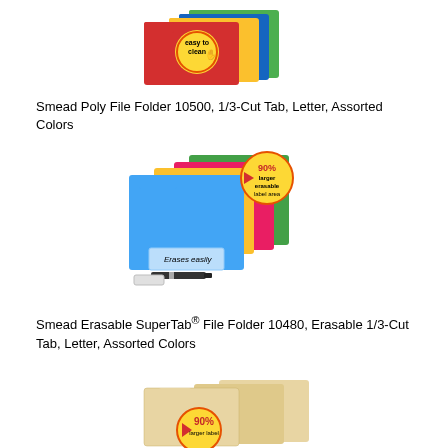[Figure (photo): Smead Poly File Folders in assorted colors (red, blue, yellow, green) with 'easy to clean' badge]
Smead Poly File Folder 10500, 1/3-Cut Tab, Letter, Assorted Colors
[Figure (photo): Smead Erasable SuperTab File Folders in assorted colors (blue, yellow, pink, green) with '90% larger erasable label area' badge and marker with eraser]
Smead Erasable SuperTab® File Folder 10480, Erasable 1/3-Cut Tab, Letter, Assorted Colors
[Figure (photo): Smead manila file folders with '90% larger label' badge]